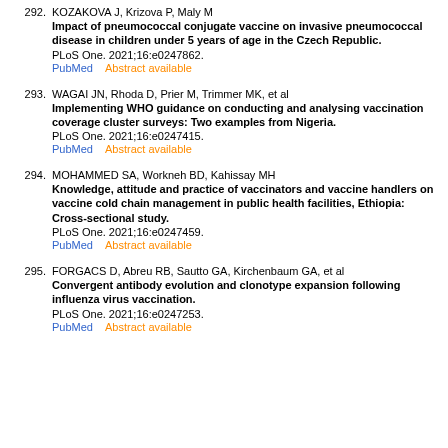292. KOZAKOVA J, Krizova P, Maly M
Impact of pneumococcal conjugate vaccine on invasive pneumococcal disease in children under 5 years of age in the Czech Republic.
PLoS One. 2021;16:e0247862.
PubMed    Abstract available
293. WAGAI JN, Rhoda D, Prier M, Trimmer MK, et al
Implementing WHO guidance on conducting and analysing vaccination coverage cluster surveys: Two examples from Nigeria.
PLoS One. 2021;16:e0247415.
PubMed    Abstract available
294. MOHAMMED SA, Workneh BD, Kahissay MH
Knowledge, attitude and practice of vaccinators and vaccine handlers on vaccine cold chain management in public health facilities, Ethiopia: Cross-sectional study.
PLoS One. 2021;16:e0247459.
PubMed    Abstract available
295. FORGACS D, Abreu RB, Sautto GA, Kirchenbaum GA, et al
Convergent antibody evolution and clonotype expansion following influenza virus vaccination.
PLoS One. 2021;16:e0247253.
PubMed    Abstract available